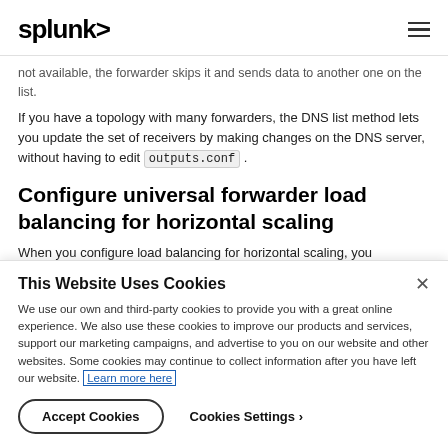splunk>
not available, the forwarder skips it and sends data to another one on the list.
If you have a topology with many forwarders, the DNS list method lets you update the set of receivers by making changes on the DNS server, without having to edit outputs.conf .
Configure universal forwarder load balancing for horizontal scaling
When you configure load balancing for horizontal scaling, you
This Website Uses Cookies
We use our own and third-party cookies to provide you with a great online experience. We also use these cookies to improve our products and services, support our marketing campaigns, and advertise to you on our website and other websites. Some cookies may continue to collect information after you have left our website. Learn more here
Accept Cookies   Cookies Settings ›